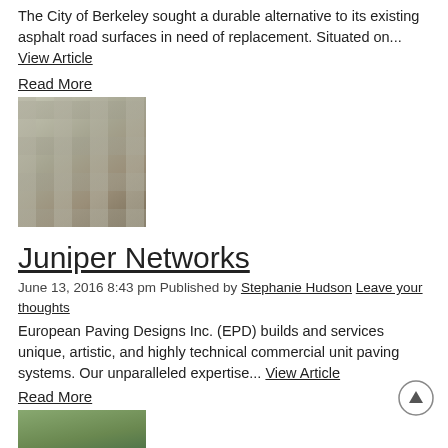The City of Berkeley sought a durable alternative to its existing asphalt road surfaces in need of replacement. Situated on...
View Article
Read More
[Figure (photo): Outdoor paving surface with concrete pavers and trees in background]
Juniper Networks
June 13, 2016 8:43 pm Published by Stephanie Hudson Leave your thoughts
European Paving Designs Inc. (EPD) builds and services unique, artistic, and highly technical commercial unit paving systems. Our unparalleled expertise... View Article
Read More
[Figure (photo): Outdoor scene with greenery and architectural elements]